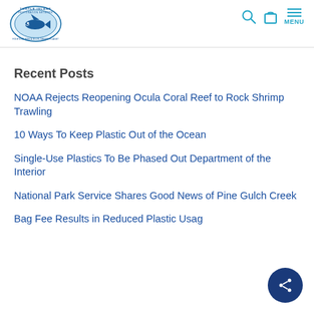[Figure (logo): Turtle Island Restoration Network logo — oval shape with blue shark/fish illustration and text 'TURTLE ISLAND RESTORATION NETWORK' around the border. Tagline: FIGHTING FOR A BLUE-GREEN PLANET]
Recent Posts
NOAA Rejects Reopening Ocula Coral Reef to Rock Shrimp Trawling
10 Ways To Keep Plastic Out of the Ocean
Single-Use Plastics To Be Phased Out Department of the Interior
National Park Service Shares Good News of Pine Gulch Creek
Bag Fee Results in Reduced Plastic Usag…